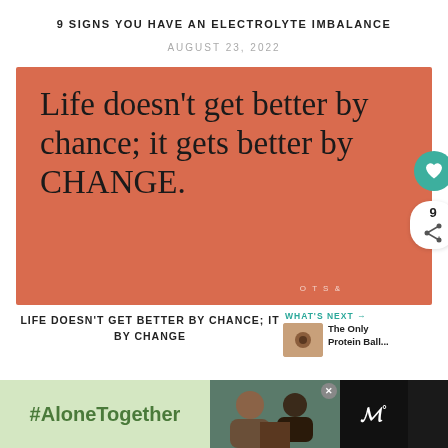9 SIGNS YOU HAVE AN ELECTROLYTE IMBALANCE
AUGUST 23, 2022
[Figure (illustration): Salmon/coral colored motivational quote image: 'Life doesn’t get better by chance; it gets better by CHANGE.' with a teal heart button and share button showing 9 shares, and a watermark.]
LIFE DOESN’T GET BETTER BY CHANCE; IT BY CHANGE
[Figure (infographic): WHAT'S NEXT arrow label with thumbnail and text: The Only Protein Ball...]
[Figure (photo): Advertisement banner with #AloneTogether text on green background, photo of two people, close button, and a TV network logo.]